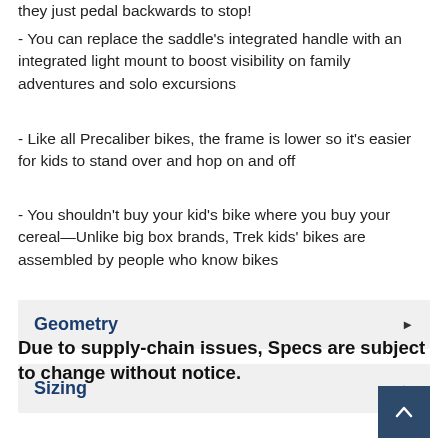they just pedal backwards to stop!
- You can replace the saddle's integrated handle with an integrated light mount to boost visibility on family adventures and solo excursions
- Like all Precaliber bikes, the frame is lower so it's easier for kids to stand over and hop on and off
- You shouldn't buy your kid's bike where you buy your cereal—Unlike big box brands, Trek kids' bikes are assembled by people who know bikes
Geometry
Sizing
Due to supply-chain issues, Specs are subject to change without notice.